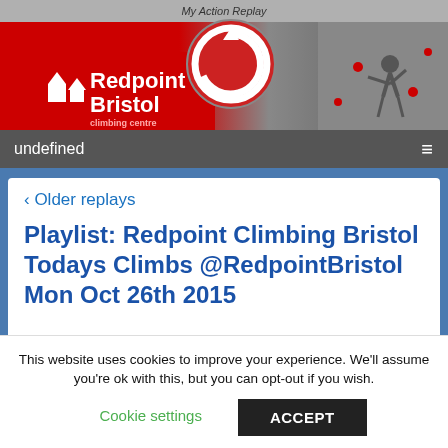[Figure (screenshot): Redpoint Bristol climbing centre website header banner with logo, My Action Replay logo, red replay circle icon, and climbing wall photo]
undefined
‹ Older replays
Playlist: Redpoint Climbing Bristol Todays Climbs @RedpointBristol Mon Oct 26th 2015
This website uses cookies to improve your experience. We'll assume you're ok with this, but you can opt-out if you wish.
Cookie settings  ACCEPT